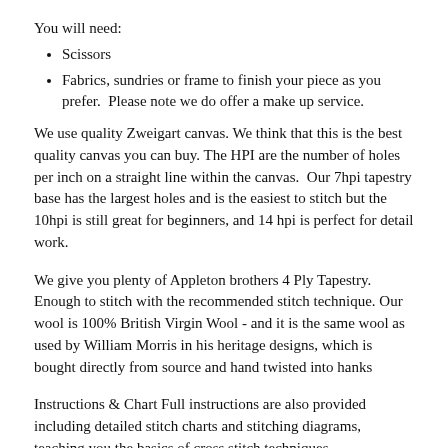You will need:
Scissors
Fabrics, sundries or frame to finish your piece as you prefer.  Please note we do offer a make up service.
We use quality Zweigart canvas. We think that this is the best quality canvas you can buy. The HPI are the number of holes per inch on a straight line within the canvas.  Our 7hpi tapestry base has the largest holes and is the easiest to stitch but the 10hpi is still great for beginners, and 14 hpi is perfect for detail work.
We give you plenty of Appleton brothers 4 Ply Tapestry. Enough to stitch with the recommended stitch technique. Our wool is 100% British Virgin Wool - and it is the same wool as used by William Morris in his heritage designs, which is bought directly from source and hand twisted into hanks
Instructions & Chart Full instructions are also provided including detailed stitch charts and stitching diagrams, teaching you the basics of cross stitch techniques.